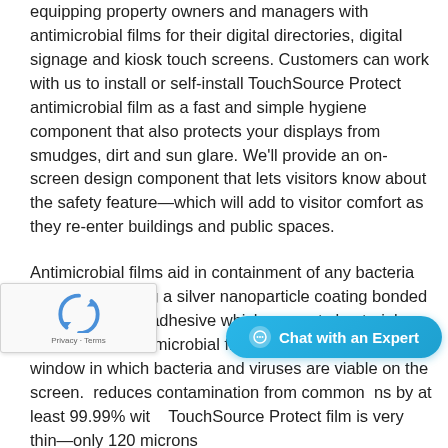equipping property owners and managers with antimicrobial films for their digital directories, digital signage and kiosk touch screens. Customers can work with us to install or self-install TouchSource Protect antimicrobial film as a fast and simple hygiene component that also protects your displays from smudges, dirt and sun glare. We'll provide an on-screen design component that lets visitors know about the safety feature—which will add to visitor comfort as they re-enter buildings and public spaces.
Antimicrobial films aid in containment of any bacteria and viruses using a silver nanoparticle coating bonded to a low residue adhesive which prevents bacterial colonization. Antimicrobial film reduces the time window in which bacteria and viruses are viable on the screen. [partially obscured] reduces contamination from common [partially obscured]ns by at least 99.99% with[partially obscured] TouchSource Protect film is very thin—only 120 microns
[Figure (other): reCAPTCHA widget with circular arrow icon and 'Privacy - Terms' text at bottom left of page]
[Figure (other): Chat with an Expert button — cyan/blue rounded pill button with chat bubble icon and white text]